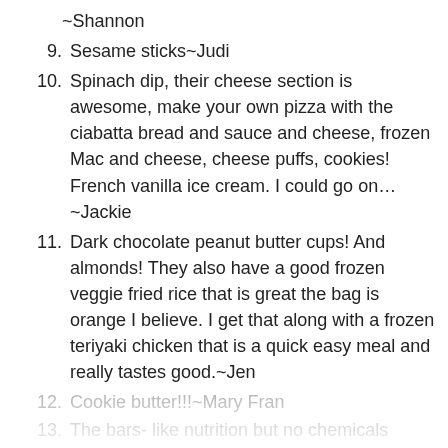~Shannon
9. Sesame sticks~Judi
10. Spinach dip, their cheese section is awesome, make your own pizza with the ciabatta bread and sauce and cheese, frozen Mac and cheese, cheese puffs, cookies! French vanilla ice cream. I could go on…~Jackie
11. Dark chocolate peanut butter cups! And almonds! They also have a good frozen veggie fried rice that is great the bag is orange I believe. I get that along with a frozen teriyaki chicken that is a quick easy meal and really tastes good.~Jen
12. Cookie butter!!!~Mary Fran
13. The bars- like nutrition but no chemicals